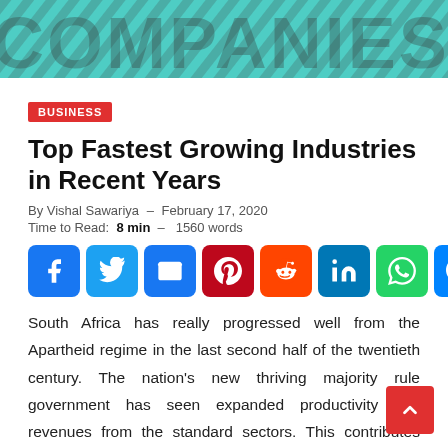[Figure (illustration): Teal/turquoise banner with diagonal dark stripe pattern and large partially visible bold text in dark grey]
BUSINESS
Top Fastest Growing Industries in Recent Years
By Vishal Sawariya  -  February 17, 2020
Time to Read:  8 min  -  1560 words
[Figure (infographic): Row of social media sharing icons: Facebook, Twitter, Email, Pinterest, Reddit, LinkedIn, WhatsApp, Messenger, Link, More]
South Africa has really progressed well from the Apartheid regime in the last second half of the twentieth century. The nation's new thriving majority rule government has seen expanded productivity and revenues from the standard sectors. This contributes immensely to the development of their economy.